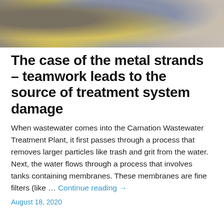[Figure (photo): Close-up photo of metal mesh/strands and yellow material next to cracked surface, related to wastewater treatment system damage]
The case of the metal strands – teamwork leads to the source of treatment system damage
When wastewater comes into the Carnation Wastewater Treatment Plant, it first passes through a process that removes larger particles like trash and grit from the water. Next, the water flows through a process that involves tanks containing membranes. These membranes are fine filters (like … Continue reading →
August 18, 2020